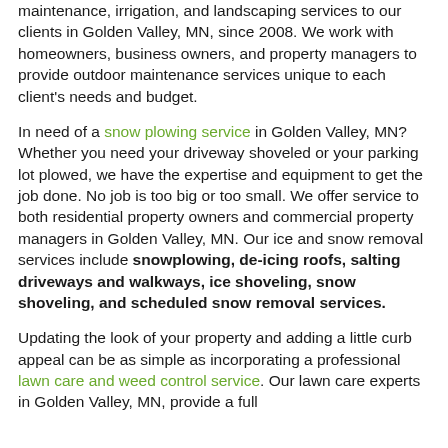maintenance, irrigation, and landscaping services to our clients in Golden Valley, MN, since 2008. We work with homeowners, business owners, and property managers to provide outdoor maintenance services unique to each client’s needs and budget.
In need of a snow plowing service in Golden Valley, MN? Whether you need your driveway shoveled or your parking lot plowed, we have the expertise and equipment to get the job done. No job is too big or too small. We offer service to both residential property owners and commercial property managers in Golden Valley, MN. Our ice and snow removal services include snowplowing, de-icing roofs, salting driveways and walkways, ice shoveling, snow shoveling, and scheduled snow removal services.
Updating the look of your property and adding a little curb appeal can be as simple as incorporating a professional lawn care and weed control service. Our lawn care experts in Golden Valley, MN, provide a full